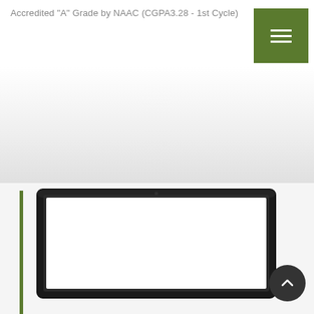Accredited "A" Grade by NAAC (CGPA3.28 - 1st Cycle)
[Figure (illustration): Green hamburger/menu button in top right corner of navigation bar]
[Figure (illustration): Laptop computer illustration with blank white screen, partially cropped, with a green vertical bar on the left side and a dark circular back-to-top arrow button in the bottom right]